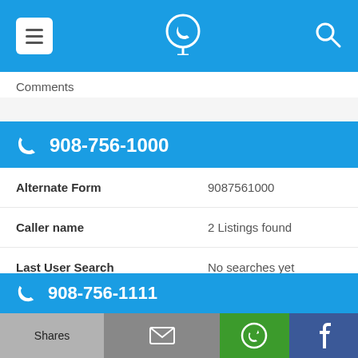Navigation bar with hamburger menu, phone/location icon, and search icon
Comments
908-756-1000
| Field | Value |
| --- | --- |
| Alternate Form | 9087561000 |
| Caller name | 2 Listings found |
| Last User Search | No searches yet |
| Comments |  |
908-756-1111
Shares | Email | WhatsApp | Facebook